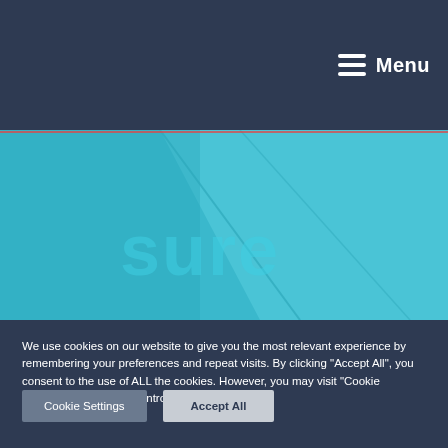Menu
[Figure (photo): A teal/cyan tinted background image showing a building or signage with the partial word 'sure' visible, likely part of an insurance company logo or building signage.]
We use cookies on our website to give you the most relevant experience by remembering your preferences and repeat visits. By clicking "Accept All", you consent to the use of ALL the cookies. However, you may visit "Cookie Settings" to provide a controlled consent.
Cookie Settings
Accept All